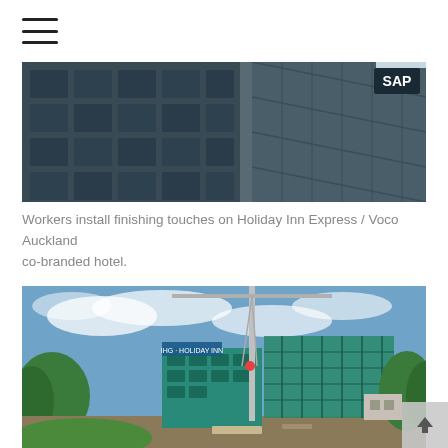[Figure (photo): Close-up of a modern building facade with dark glass windows and metal cladding; an SAP sign visible in top right corner]
Workers install finishing touches on Holiday Inn Express / Voco Auckland co-branded hotel.
[Figure (photo): Construction site with a tall crane, a building under construction with scaffolding and teal netting, surrounded by trees under a blue sky with scattered clouds]